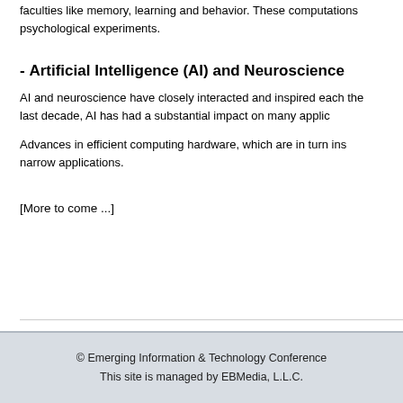faculties like memory, learning and behavior. These computations psychological experiments.
- Artificial Intelligence (AI) and Neuroscience
AI and neuroscience have closely interacted and inspired each the last decade, AI has had a substantial impact on many applic
Advances in efficient computing hardware, which are in turn ins narrow applications.
[More to come ...]
© Emerging Information & Technology Conference
This site is managed by EBMedia, L.L.C.